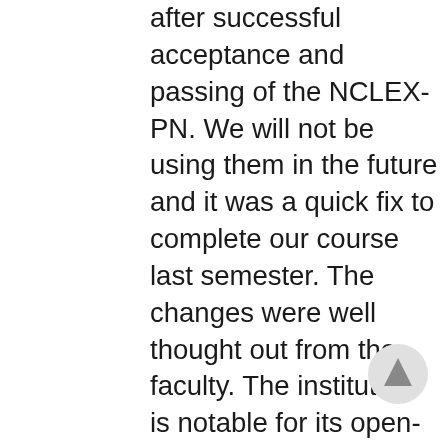after successful acceptance and passing of the NCLEX-PN. We will not be using them in the future and it was a quick fix to complete our course last semester. The changes were well thought out from the faculty. The institution is notable for its open-door policy to prospective students via its three campuses. Southern Union State Community College (SUSCC) is a public college that offers two year degrees. Students who apply to this program and are accepted are eligible to apply for the NCLEX-PN and are awarded a certificate of completion. ... Southern Union State Community College750 Roberts StreetWadley, AL 36276(256) 395-2211, Spring Hill College Nursing Program Review, Shelton State Community College Nursing Program Review, Lee Ammons |